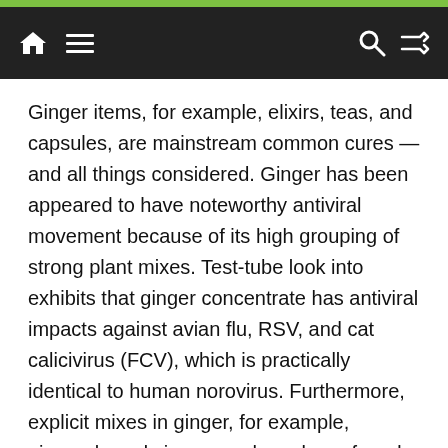Navigation bar with home, menu, search, and shuffle icons
Ginger items, for example, elixirs, teas, and capsules, are mainstream common cures — and all things considered. Ginger has been appeared to have noteworthy antiviral movement because of its high grouping of strong plant mixes. Test-tube look into exhibits that ginger concentrate has antiviral impacts against avian flu, RSV, and cat calicivirus (FCV), which is practically identical to human norovirus. Furthermore, explicit mixes in ginger, for example, gingerols and zingerone, have been found to restrain viral replication and forestall infections from entering host cells.
Astragalus
Astragalus is a blossoming herb well known in